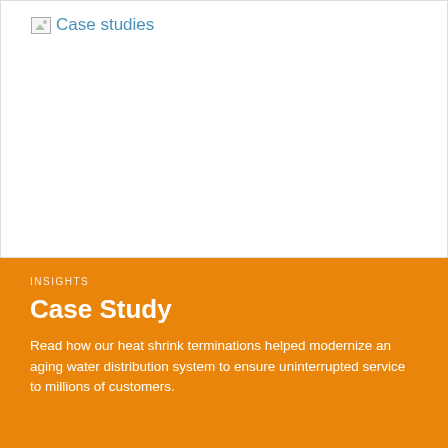Case studies
[Figure (photo): Large white image area representing a case study photo (broken/missing image placeholder)]
INSIGHTS
Case Study
Read how our heat shrink terminations helped modernize an aging water distribution system to ensure uninterrupted service to millions of customers.